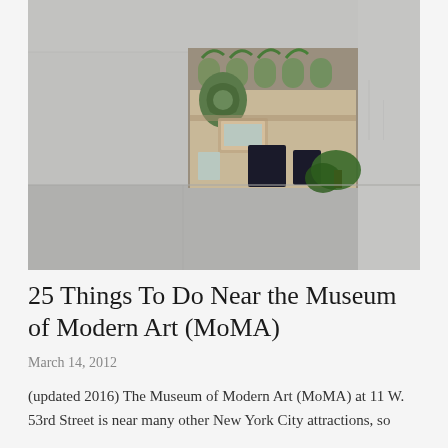[Figure (photo): Photograph looking up through a rectangular opening in MoMA's modern grey concrete/metal facade, revealing an ornate historic beaux-arts building facade with green copper decorative elements, arched dormers, carved stonework, and visible vegetation.]
25 Things To Do Near the Museum of Modern Art (MoMA)
March 14, 2012
(updated 2016) The Museum of Modern Art (MoMA) at 11 W. 53rd Street is near many other New York City attractions, so